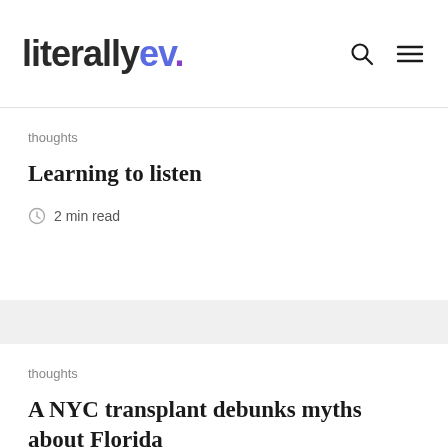literallyev.
thoughts
Learning to listen
2 min read
thoughts
A NYC transplant debunks myths about Florida
2 min read